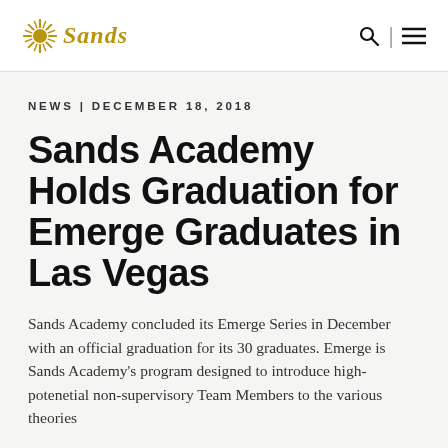[Figure (logo): Sands logo with sunburst icon and italic serif wordmark in gold/brown color]
Sands [logo with search and menu icons]
NEWS | DECEMBER 18, 2018
Sands Academy Holds Graduation for Emerge Graduates in Las Vegas
Sands Academy concluded its Emerge Series in December with an official graduation for its 30 graduates. Emerge is Sands Academy's program designed to introduce high-potenetial non-supervisory Team Members to the various theories